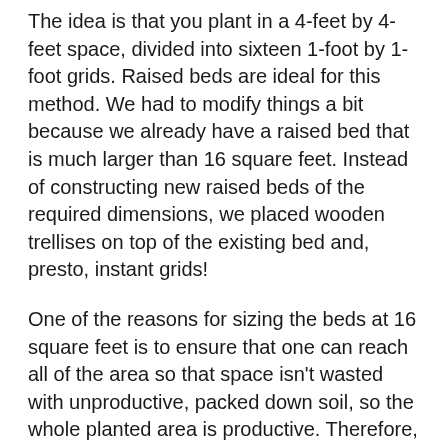The idea is that you plant in a 4-feet by 4-feet space, divided into sixteen 1-foot by 1-foot grids. Raised beds are ideal for this method. We had to modify things a bit because we already have a raised bed that is much larger than 16 square feet. Instead of constructing new raised beds of the required dimensions, we placed wooden trellises on top of the existing bed and, presto, instant grids!
One of the reasons for sizing the beds at 16 square feet is to ensure that one can reach all of the area so that space isn't wasted with unproductive, packed down soil, so the whole planted area is productive. Therefore, we left space between the trellises so we could tend the planted area from all sides.
Once the grids were ready, it was time to plant